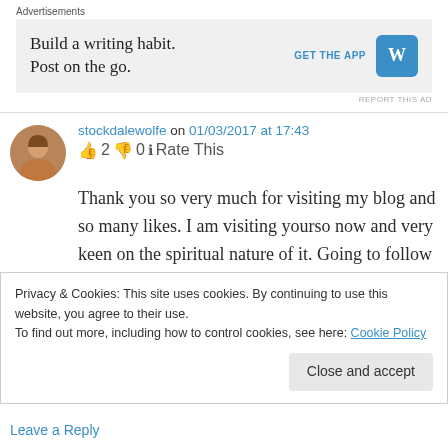Advertisements
[Figure (screenshot): WordPress app advertisement banner: 'Build a writing habit. Post on the go.' with GET THE APP button and WordPress logo]
REPORT THIS AD
stockdalewolfe on 01/03/2017 at 17:43
👍 2 👎 0 ℹ Rate This
Thank you so very much for visiting my blog and so many likes. I am visiting yourso now and very keen on the spiritual nature of it. Going to follow you. My master is Mooji. I was following
Privacy & Cookies: This site uses cookies. By continuing to use this website, you agree to their use.
To find out more, including how to control cookies, see here: Cookie Policy
Close and accept